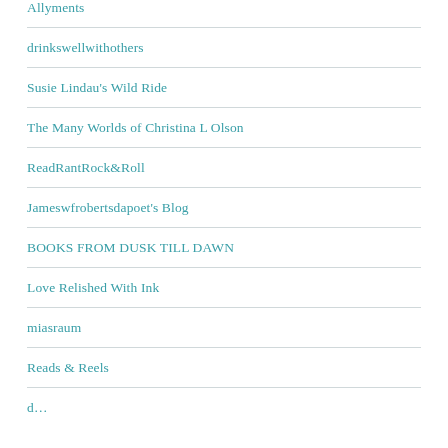drinkswellwithothers
Susie Lindau's Wild Ride
The Many Worlds of Christina L Olson
ReadRantRock&Roll
Jameswfrobertsdapoet's Blog
BOOKS FROM DUSK TILL DAWN
Love Relished With Ink
miasraum
Reads & Reels